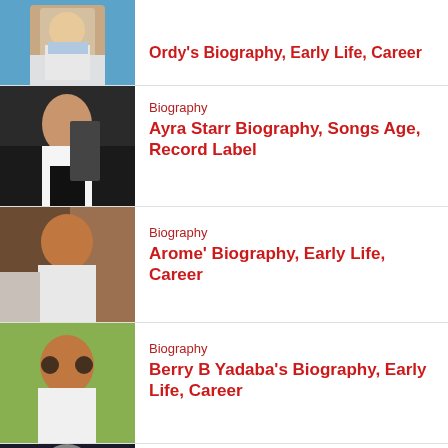[Figure (photo): Person in white denim jacket dancing against blue background]
Ordy's Biography, Early Life, Career
[Figure (photo): Young woman in white crop top and black skirt standing near a car]
Biography
Ayra Starr Biography, Songs Age, Record Label
[Figure (photo): Young man in white sweater leaning against brick wall]
Biography
Arome' Biography, Early Life, Career
[Figure (photo): Young man with sunglasses outdoors in a white jacket]
Biography
Berry B Yadaba's Biography, Early Life, Career
[Figure (photo): Person with grey beanie and sunglasses outdoors]
Biography
Smasher Biography, Early Life, Career